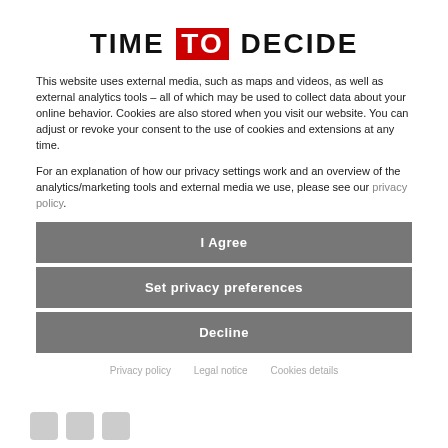TIME TO DECIDE
This website uses external media, such as maps and videos, as well as external analytics tools – all of which may be used to collect data about your online behavior. Cookies are also stored when you visit our website. You can adjust or revoke your consent to the use of cookies and extensions at any time.
For an explanation of how our privacy settings work and an overview of the analytics/marketing tools and external media we use, please see our privacy policy.
I Agree
Set privacy preferences
Decline
Privacy policy   Legal notice   Cookies details